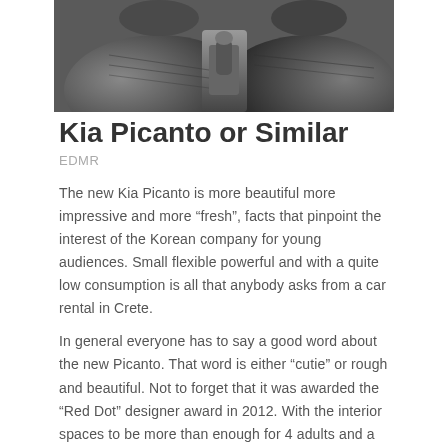[Figure (photo): Black and white interior photo of a car showing dark upholstered seats and center console/gear shift area]
Kia Picanto or Similar
EDMR
The new Kia Picanto is more beautiful more impressive and more “fresh”, facts that pinpoint the interest of the Korean company for young audiences. Small flexible powerful and with a quite low consumption is all that anybody asks from a car rental in Crete.
In general everyone has to say a good word about the new Picanto. That word is either “cutie” or rough and beautiful. Not to forget that it was awarded the “Red Dot” designer award in 2012. With the interior spaces to be more than enough for 4 adults and a luggage space of 200ltr this small cutie can drive you anywhere in Crete safely and will save you money with its low